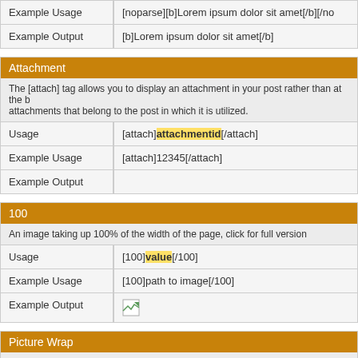|  |  |
| --- | --- |
| Example Usage | [noparse][b]Lorem ipsum dolor sit amet[/b][/no |
| Example Output | [b]Lorem ipsum dolor sit amet[/b] |
Attachment
The [attach] tag allows you to display an attachment in your post rather than at the bottom. It will only display attachments that belong to the post in which it is utilized.
|  |  |
| --- | --- |
| Usage | [attach]attachmentid[/attach] |
| Example Usage | [attach]12345[/attach] |
| Example Output |  |
100
An image taking up 100% of the width of the page, click for full version
|  |  |
| --- | --- |
| Usage | [100]value[/100] |
| Example Usage | [100]path to image[/100] |
| Example Output | (image icon) |
Picture Wrap
This will allow you to wrap text around images.
|  |  |
| --- | --- |
| Usage | [aimg=Option]value[/aimg] |
| Example Usage | [aimg]http://yoursite.com/image.jpg[/aimg] |